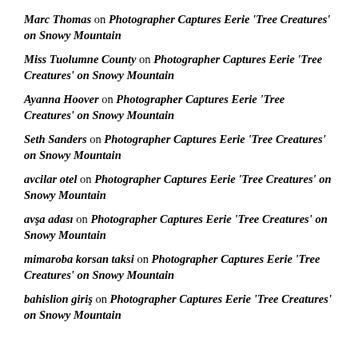Marc Thomas on Photographer Captures Eerie ‘Tree Creatures’ on Snowy Mountain
Miss Tuolumne County on Photographer Captures Eerie ‘Tree Creatures’ on Snowy Mountain
Ayanna Hoover on Photographer Captures Eerie ‘Tree Creatures’ on Snowy Mountain
Seth Sanders on Photographer Captures Eerie ‘Tree Creatures’ on Snowy Mountain
avcilar otel on Photographer Captures Eerie ‘Tree Creatures’ on Snowy Mountain
avşa adası on Photographer Captures Eerie ‘Tree Creatures’ on Snowy Mountain
mimaroba korsan taksi on Photographer Captures Eerie ‘Tree Creatures’ on Snowy Mountain
bahislion giriş on Photographer Captures Eerie ‘Tree Creatures’ on Snowy Mountain